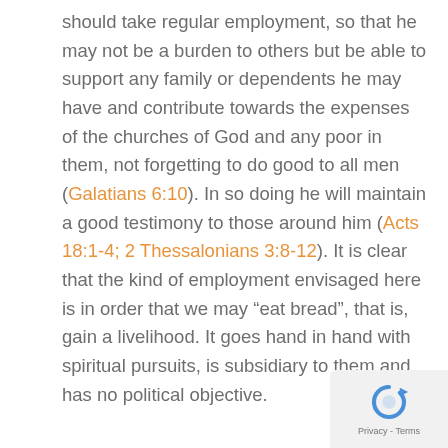should take regular employment, so that he may not be a burden to others but be able to support any family or dependents he may have and contribute towards the expenses of the churches of God and any poor in them, not forgetting to do good to all men (Galatians 6:10). In so doing he will maintain a good testimony to those around him (Acts 18:1-4; 2 Thessalonians 3:8-12). It is clear that the kind of employment envisaged here is in order that we may “eat bread”, that is, gain a livelihood. It goes hand in hand with spiritual pursuits, is subsidiary to them and has no political objective.
[Figure (logo): reCAPTCHA logo with Privacy and Terms text]